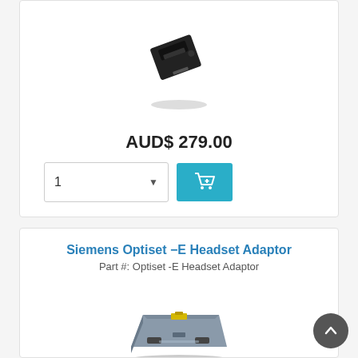[Figure (photo): Black headset adapter/connector hardware product photo on white background]
AUD$ 279.00
[Figure (other): Quantity selector showing '1' with dropdown arrow, and teal Add to Cart button with shopping cart icon]
Siemens Optiset -E Headset Adaptor
Part #: Optiset -E Headset Adaptor
[Figure (photo): Grey Siemens Optiset -E Headset Adaptor hardware product photo]